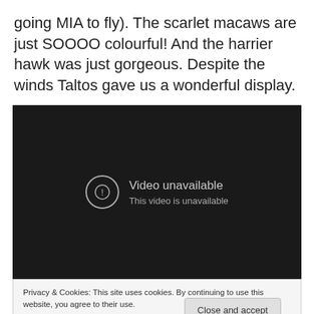going MIA to fly). The scarlet macaws are just SOOOO colourful! And the harrier hawk was just gorgeous. Despite the winds Taltos gave us a wonderful display.
[Figure (screenshot): Embedded video player showing 'Video unavailable - This video is unavailable' error message on a dark background]
Privacy & Cookies: This site uses cookies. By continuing to use this website, you agree to their use. To find out more, including how to control cookies, see here: Cookie Policy